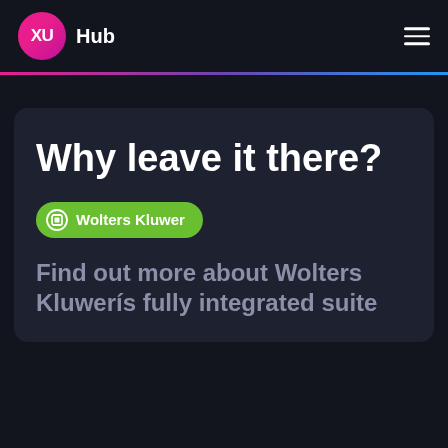XU Hub
Why leave it there?
Wolters Kluwer
Find out more about Wolters Kluwerís fully integrated suite